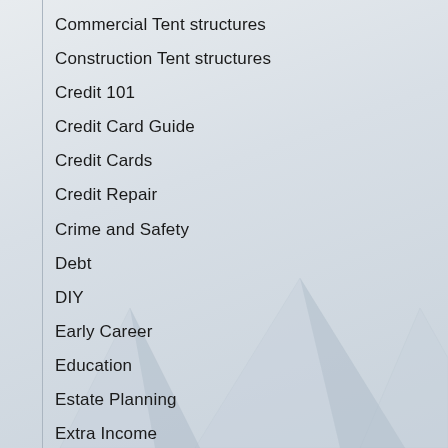Commercial Tent structures
Construction Tent structures
Credit 101
Credit Card Guide
Credit Cards
Credit Repair
Crime and Safety
Debt
DIY
Early Career
Education
Estate Planning
Extra Income